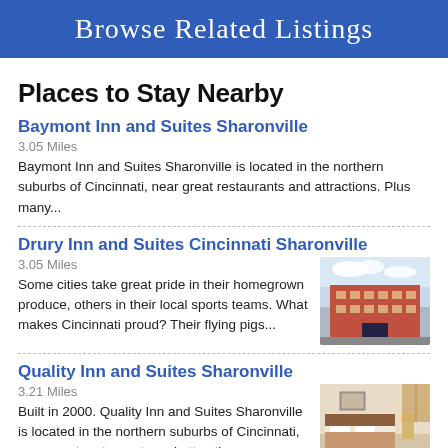Browse Related Listings
Places to Stay Nearby
Baymont Inn and Suites Sharonville
3.05 Miles
Baymont Inn and Suites Sharonville is located in the northern suburbs of Cincinnati, near great restaurants and attractions. Plus many...
Drury Inn and Suites Cincinnati Sharonville
3.05 Miles
Some cities take great pride in their homegrown produce, others in their local sports teams. What makes Cincinnati proud? Their flying pigs...
[Figure (photo): Exterior photo of Drury Inn and Suites Cincinnati Sharonville building]
Quality Inn and Suites Sharonville
3.21 Miles
Built in 2000. Quality Inn and Suites Sharonville is located in the northern suburbs of Cincinnati, near great restaurants and attractions...
[Figure (photo): Interior photo of Quality Inn and Suites Sharonville hotel room]